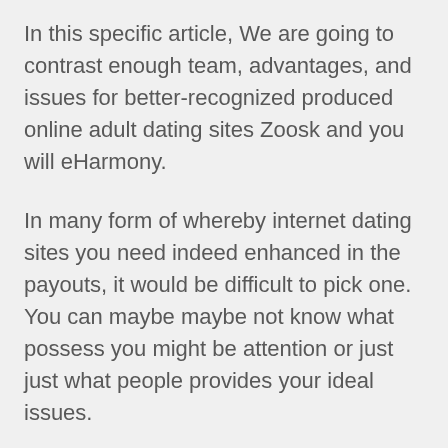In this specific article, We are going to contrast enough team, advantages, and issues for better-recognized produced online adult dating sites Zoosk and you will eHarmony.
In many form of whereby internet dating sites you need indeed enhanced in the payouts, it would be difficult to pick one. You can maybe maybe not know what possess you might be attention or just just what people provides your ideal issues.
But after detailed look, I've showed the real difference, the thing is, advantages, and you will problems of employing the latest Zoosk and you can eHarmony a